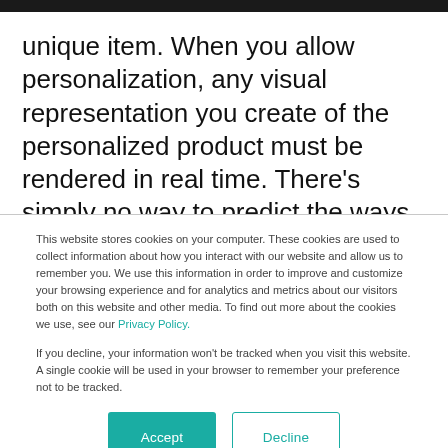unique item. When you allow personalization, any visual representation you create of the personalized product must be rendered in real time. There's simply no way to predict the ways shoppers will personalize.
This website stores cookies on your computer. These cookies are used to collect information about how you interact with our website and allow us to remember you. We use this information in order to improve and customize your browsing experience and for analytics and metrics about our visitors both on this website and other media. To find out more about the cookies we use, see our Privacy Policy.
If you decline, your information won't be tracked when you visit this website. A single cookie will be used in your browser to remember your preference not to be tracked.